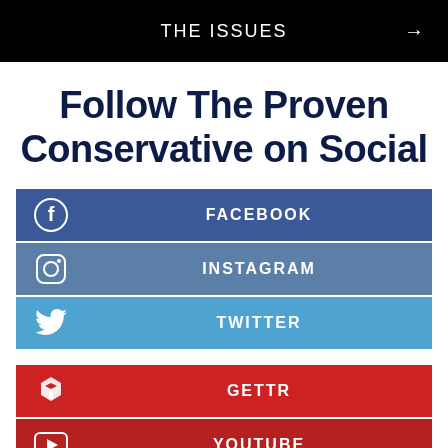THE ISSUES →
Follow The Proven Conservative on Social
FACEBOOK
INSTAGRAM
TWITTER
GETTR
YOUTUBE